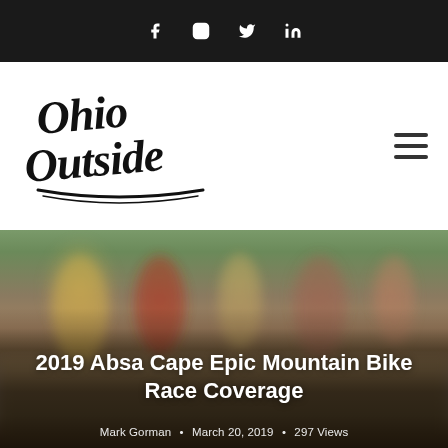Social media icons: Facebook, Instagram, Twitter, LinkedIn
[Figure (logo): Ohio Outside script logo in black and white]
2019 Absa Cape Epic Mountain Bike Race Coverage
Mark Gorman • March 20, 2019 • 297 Views